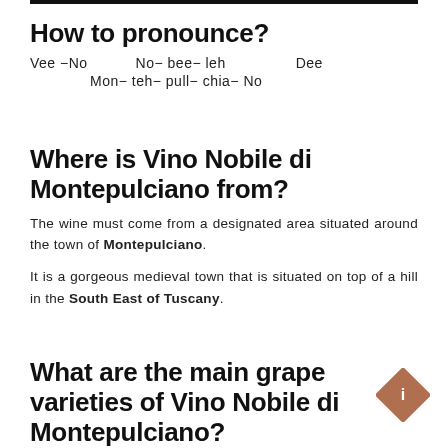How to pronounce?
Vee −No   No− bee− leh   Dee
Mon− teh− pull− chia− No
Where is Vino Nobile di Montepulciano from?
The wine must come from a designated area situated around the town of Montepulciano.
It is a gorgeous medieval town that is situated on top of a hill in the South East of Tuscany.
What are the main grape varieties of Vino Nobile di Montepulciano?
[Figure (illustration): Brown/copper diamond shape with an 'i' (information icon) inside]